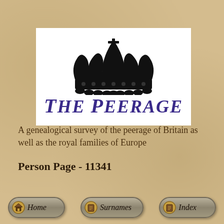[Figure (logo): The Peerage logo: a black royal crown above the text 'The Peerage' in bold italic purple serif font, on a white background]
A genealogical survey of the peerage of Britain as well as the royal families of Europe
Person Page - 11341
[Figure (other): Navigation buttons: Home, Surnames, Index — styled as rounded gray buttons with small golden book/scroll icons]
Home   Surnames   Index